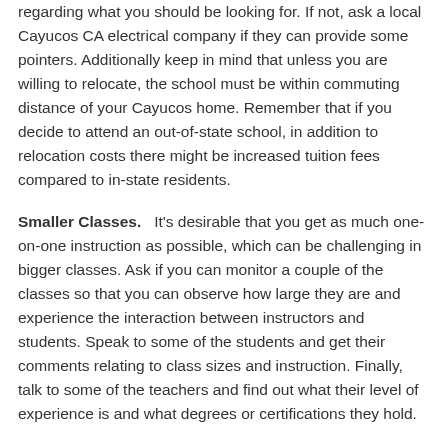regarding what you should be looking for. If not, ask a local Cayucos CA electrical company if they can provide some pointers. Additionally keep in mind that unless you are willing to relocate, the school must be within commuting distance of your Cayucos home. Remember that if you decide to attend an out-of-state school, in addition to relocation costs there might be increased tuition fees compared to in-state residents.
Smaller Classes.   It's desirable that you get as much one-on-one instruction as possible, which can be challenging in bigger classes. Ask if you can monitor a couple of the classes so that you can observe how large they are and experience the interaction between instructors and students. Speak to some of the students and get their comments relating to class sizes and instruction. Finally, talk to some of the teachers and find out what their level of experience is and what degrees or certifications they hold.